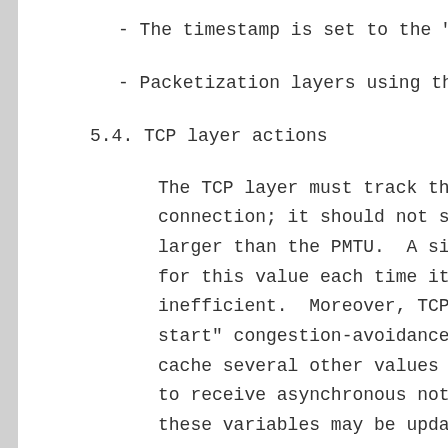- The timestamp is set to the "reserved
- Packetization layers using this path
5.4. TCP layer actions
The TCP layer must track the PMTU for t
connection; it should not send segments
larger than the PMTU.  A simple impleme
for this value each time it created a n
inefficient.  Moreover, TCP implementat
start" congestion-avoidance algorithm [
cache several other values derived from
to receive asynchronous notification wh
these variables may be updated.
A TCP implementation must also store th
peer, and must not send any segment lar